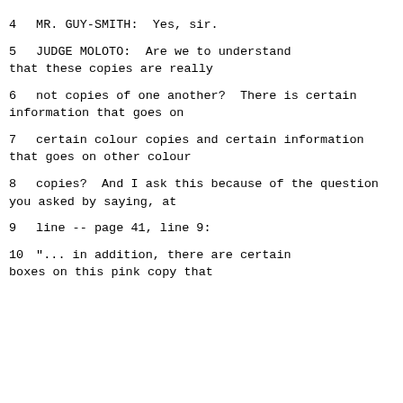4    MR. GUY-SMITH:  Yes, sir.
5              JUDGE MOLOTO:  Are we to understand that these copies are really
6      not copies of one another?  There is certain information that goes on
7      certain colour copies and certain information that goes on other colour
8      copies?  And I ask this because of the question you asked by saying, at
9      line -- page 41, line 9:
10              "... in addition, there are certain boxes on this pink copy that